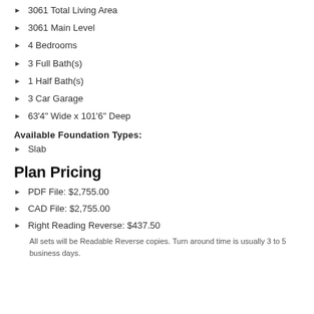3061 Total Living Area
3061 Main Level
4 Bedrooms
3 Full Bath(s)
1 Half Bath(s)
3 Car Garage
63'4" Wide x 101'6" Deep
Available Foundation Types:
Slab
Plan Pricing
PDF File: $2,755.00
CAD File: $2,755.00
Right Reading Reverse: $437.50
All sets will be Readable Reverse copies. Turn around time is usually 3 to 5 business days.